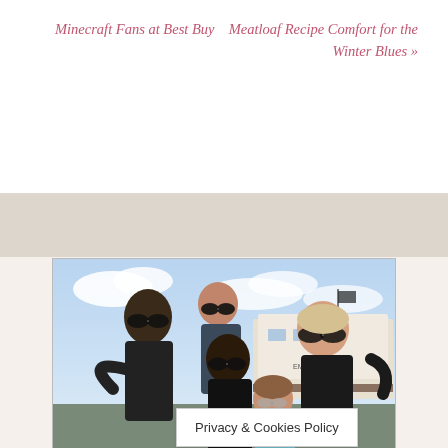Minecraft Fans at Best Buy
Meatloaf Recipe Comfort for the Winter Blues »
[Figure (photo): Family photo of five people wearing sunglasses outdoors near a boat/ship, including two adults and three younger people]
Thanks for visiting Shibley Smiles where smil…
Privacy & Cookies Policy